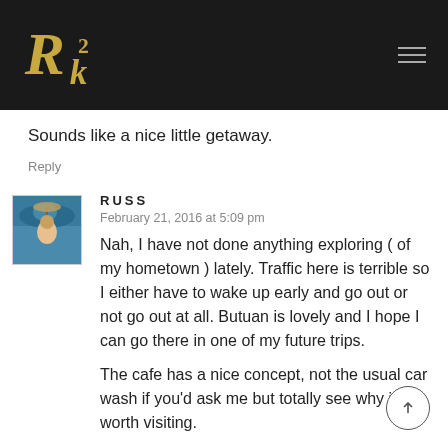[Figure (logo): R2K stylized gold/yellow logo on dark background header bar]
Sounds like a nice little getaway.
Reply
RUSS
February 21, 2016 at 5:09 pm
Nah, I have not done anything exploring ( of my hometown ) lately. Traffic here is terrible so I either have to wake up early and go out or not go out at all. Butuan is lovely and I hope I can go there in one of my future trips.

The cafe has a nice concept, not the usual car wash if you'd ask me but totally see why it's worth visiting.